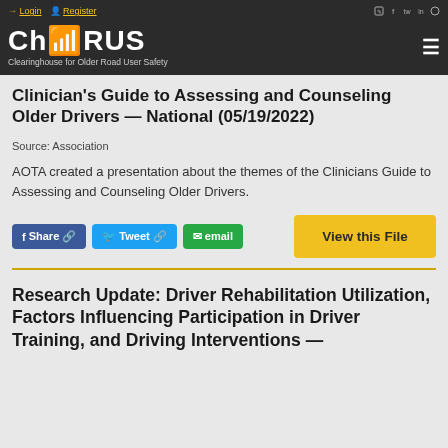Login  Register  [social icons]
ChORUS — Clearinghouse for Older Road User Safety
Clinician's Guide to Assessing and Counseling Older Drivers — National (05/19/2022)
Source: Association
AOTA created a presentation about the themes of the Clinicians Guide to Assessing and Counseling Older Drivers.
Share  Tweet  email  View this File
Research Update: Driver Rehabilitation Utilization, Factors Influencing Participation in Driver Training, and Driving Interventions —